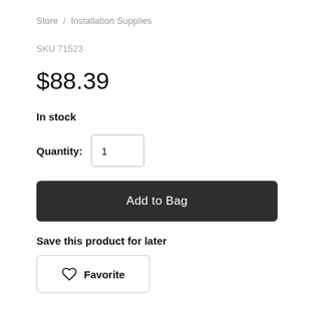Store / Installation Supplies
SKU 71523
$88.39
In stock
Quantity: 1
Add to Bag
Save this product for later
Favorite